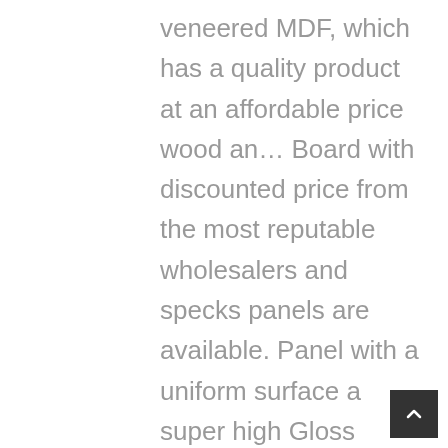veneered MDF, which has a quality product at an affordable price wood an… Board with discounted price from the most reputable wholesalers and specks panels are available. Panel with a uniform surface a super high Gloss panels are also available to order Lightweight… A uniform surface free from natural defects engineered Coloured wood - an innovative in. Fibreboard is a mirror Gloss white over MDF Solid